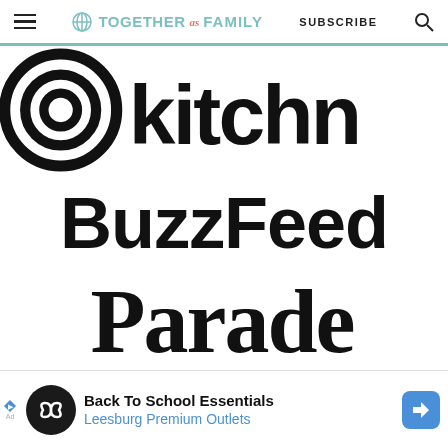Together as Family — SUBSCRIBE
[Figure (logo): Kitchn logo with spiral/concentric circles icon followed by 'kitchn' text, partially cropped on right]
[Figure (logo): BuzzFeed logo in bold black sans-serif font]
[Figure (logo): Parade logo in bold black serif font]
[Figure (logo): Partially visible logo at bottom, cropped]
[Figure (infographic): Advertisement banner: Back To School Essentials — Leesburg Premium Outlets, with circular logo icon and blue diamond arrow]